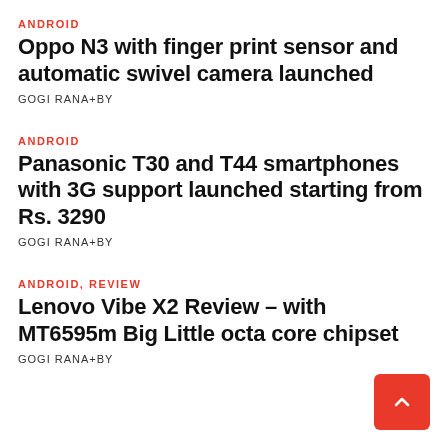ANDROID
Oppo N3 with finger print sensor and automatic swivel camera launched
GOGI RANA+BY
ANDROID
Panasonic T30 and T44 smartphones with 3G support launched starting from Rs. 3290
GOGI RANA+BY
ANDROID, REVIEW
Lenovo Vibe X2 Review – with MT6595m Big Little octa core chipset
GOGI RANA+BY